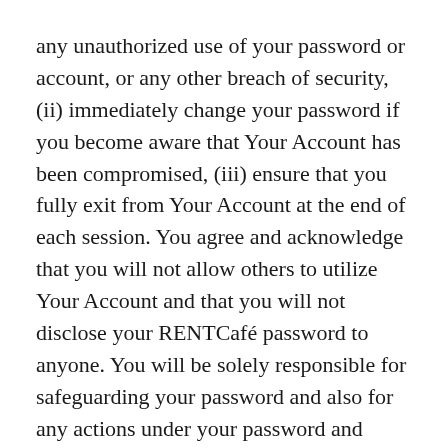any unauthorized use of your password or account, or any other breach of security, (ii) immediately change your password if you become aware that Your Account has been compromised, (iii) ensure that you fully exit from Your Account at the end of each session. You agree and acknowledge that you will not allow others to utilize Your Account and that you will not disclose your RENTCafé password to anyone. You will be solely responsible for safeguarding your password and also for any actions under your password and Account, whether authorized by you or not. If you lose control of your password, you may lose substantial control of your personal information and could potentially be subject to legally binding actions taken on your behalf. You further agree not to use anyone else's password on the Site at any time, or access the RENTCafé